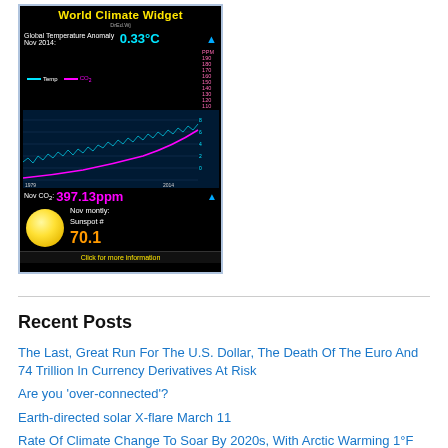[Figure (infographic): World Climate Widget showing Global Temperature Anomaly Nov 2014: 0.33°C, a line chart of temperature and CO2 from 1979 to 2014, Nov CO2: 397.13ppm, Nov monthly Sunspot # 70.1, with a yellow sun graphic and 'Click for more information' bar at bottom.]
Recent Posts
The Last, Great Run For The U.S. Dollar, The Death Of The Euro And 74 Trillion In Currency Derivatives At Risk
Are you 'over-connected'?
Earth-directed solar X-flare March 11
Rate Of Climate Change To Soar By 2020s, With Arctic Warming 1°F Per Decade